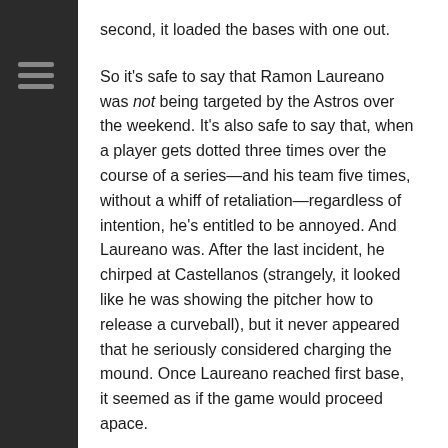second, it loaded the bases with one out.
So it’s safe to say that Ramon Laureano was not being targeted by the Astros over the weekend. It’s also safe to say that, when a player gets dotted three times over the course of a series—and his team five times, without a whiff of retaliation—regardless of intention, he’s entitled to be annoyed. And Laureano was. After the last incident, he chirped at Castellanos (strangely, it looked like he was showing the pitcher how to release a curveball), but it never appeared that he seriously considered charging the mound. Once Laureano reached first base, it seemed as if the game would proceed apace.
That’s the build-up.